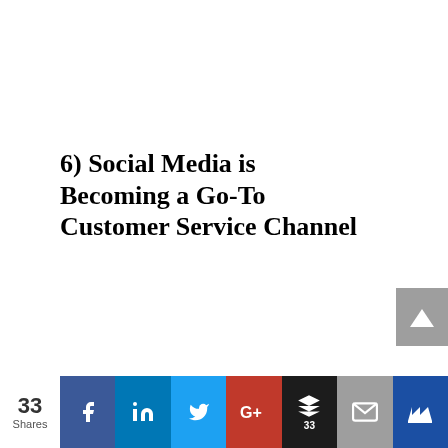6) Social Media is Becoming a Go-To Customer Service Channel
[Figure (other): Social media share bar with share count (33 Shares) and buttons for Facebook, LinkedIn, Twitter, Google+, Buffer (33), email, and a crown/king icon button. Also a grey scroll-to-top button with upward arrow on the right side.]